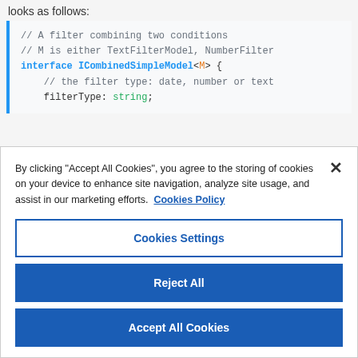looks as follows:
[Figure (screenshot): Code block showing TypeScript interface ICombinedSimpleModel with comments and filterType property]
By clicking "Accept All Cookies", you agree to the storing of cookies on your device to enhance site navigation, analyze site usage, and assist in our marketing efforts. Cookies Policy
Cookies Settings
Reject All
Accept All Cookies